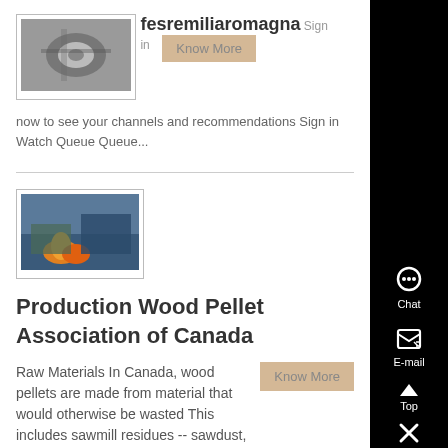[Figure (photo): Thumbnail image of industrial machinery, bordered in grey]
fesremiliaromagna
Sign in now to see your channels and recommendations Sign in Watch Queue Queue...
[Figure (photo): Thumbnail image of wood pellet production facility with fire/machinery]
Production Wood Pellet Association of Canada
Raw Materials In Canada, wood pellets are made from material that would otherwise be wasted This includes sawmill residues -- sawdust, planer shavings, and